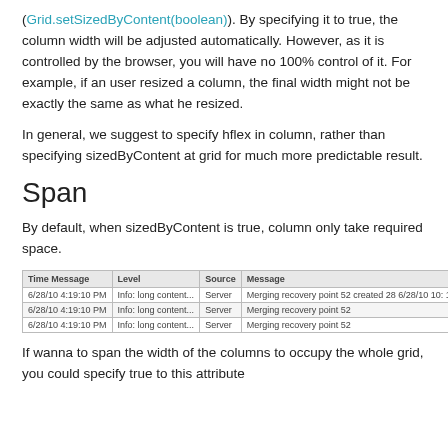(Grid.setSizedByContent(boolean)). By specifying it to true, the column width will be adjusted automatically. However, as it is controlled by the browser, you will have no 100% control of it. For example, if an user resized a column, the final width might not be exactly the same as what he resized.
In general, we suggest to specify hflex in column, rather than specifying sizedByContent at grid for much more predictable result.
Span
By default, when sizedByContent is true, column only take required space.
| Time Message | Level | Source | Message |
| --- | --- | --- | --- |
| 6/28/10 4:19:10 PM | Info: long content... | Server | Merging recovery point 52 created 28 6/28/10 10: 11 PM |
| 6/28/10 4:19:10 PM | Info: long content... | Server | Merging recovery point 52 |
| 6/28/10 4:19:10 PM | Info: long content... | Server | Merging recovery point 52 |
If wanna to span the width of the columns to occupy the whole grid, you could specify true to this attribute